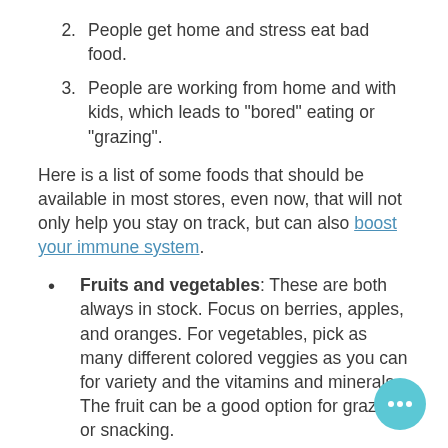2. People get home and stress eat bad food.
3. People are working from home and with kids, which leads to "bored" eating or "grazing".
Here is a list of some foods that should be available in most stores, even now, that will not only help you stay on track, but can also boost your immune system.
Fruits and vegetables: These are both always in stock. Focus on berries, apples, and oranges. For vegetables, pick as many different colored veggies as you can for variety and the vitamins and minerals. The fruit can be a good option for grazing or snacking.